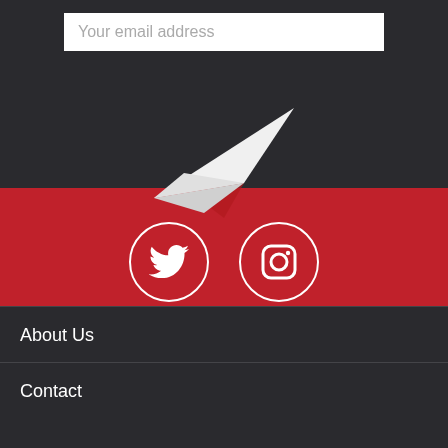Your email address
[Figure (illustration): White paper airplane icon pointing upper right, overlapping into the red band below]
[Figure (illustration): Red band with Twitter and Instagram social media icons in white circles]
About Us
Contact